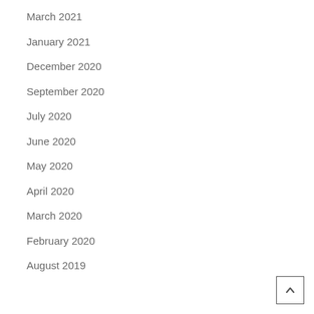March 2021
January 2021
December 2020
September 2020
July 2020
June 2020
May 2020
April 2020
March 2020
February 2020
August 2019